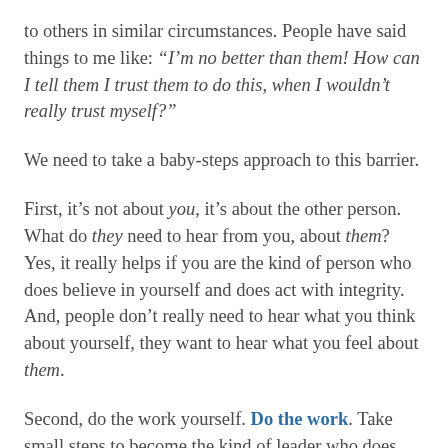to others in similar circumstances. People have said things to me like: “I’m no better than them! How can I tell them I trust them to do this, when I wouldn’t really trust myself?”
We need to take a baby-steps approach to this barrier.
First, it’s not about you, it’s about the other person. What do they need to hear from you, about them? Yes, it really helps if you are the kind of person who does believe in yourself and does act with integrity. And, people don’t really need to hear what you think about yourself, they want to hear what you feel about them.
Second, do the work yourself. Do the work. Take small steps to become the kind of leader who does what they said they would. Work on your...